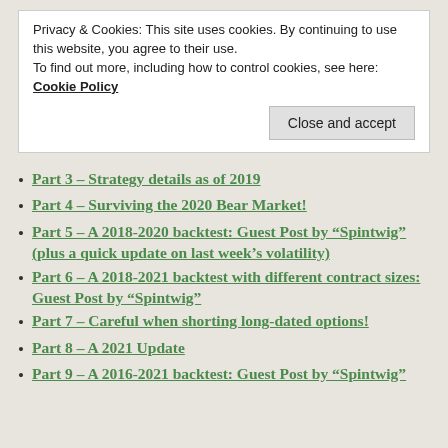Privacy & Cookies: This site uses cookies. By continuing to use this website, you agree to their use.
To find out more, including how to control cookies, see here: Cookie Policy
Part 3 – Strategy details as of 2019
Part 4 – Surviving the 2020 Bear Market!
Part 5 – A 2018-2020 backtest: Guest Post by "Spintwig" (plus a quick update on last week's volatility)
Part 6 – A 2018-2021 backtest with different contract sizes: Guest Post by "Spintwig"
Part 7 – Careful when shorting long-dated options!
Part 8 – A 2021 Update
Part 9 – A 2016-2021 backtest: Guest Post by "Spintwig"